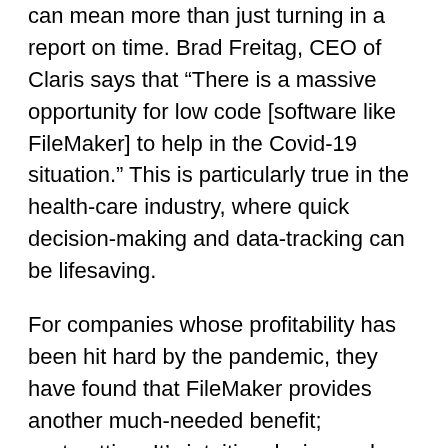can mean more than just turning in a report on time. Brad Freitag, CEO of Claris says that “There is a massive opportunity for low code [software like FileMaker] to help in the Covid-19 situation.” This is particularly true in the health-care industry, where quick decision-making and data-tracking can be lifesaving.
For companies whose profitability has been hit hard by the pandemic, they have found that FileMaker provides another much-needed benefit; cost-cutting. It’s intuitive design and ease of use allow staffers to accomplish more in less time, thus increasing productivity. Additionally, with the data accessible through a “free” web browser, companies will not have the cost of installing expensive software on every computer.